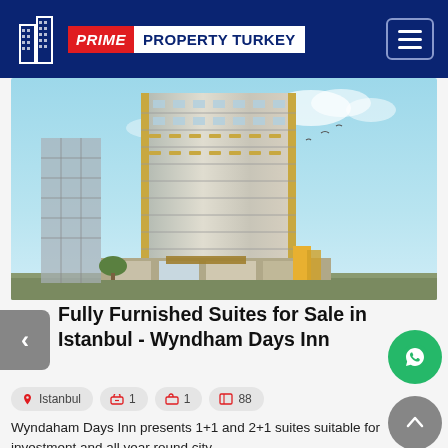[Figure (logo): Prime Property Turkey logo with red PRIME block and dark blue PROPERTY TURKEY text, with building icon]
[Figure (photo): Tall high-rise building rendering with blue sky background, showing a modern multi-storey residential/hotel tower under construction or newly built, in Istanbul]
Fully Furnished Suites for Sale in Istanbul - Wyndham Days Inn
Istanbul  1  1  88
Wyndaham Days Inn presents 1+1 and 2+1 suites suitable for investment and all year round city